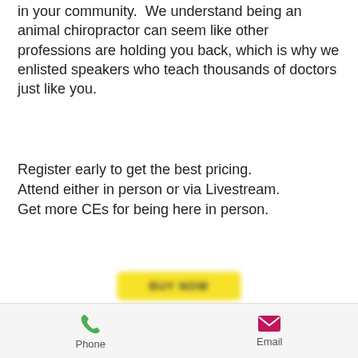in your community.  We understand being an animal chiropractor can seem like other professions are holding you back, which is why we enlisted speakers who teach thousands of doctors just like you.
Register early to get the best pricing. Attend either in person or via Livestream.
Get more CEs for being here in person.
[Figure (other): Yellow button with blurred text (call-to-action button)]
Transform your practice.
Become the doctor who builds a healthy legacy for animals and humans in your community.
Phone   Email